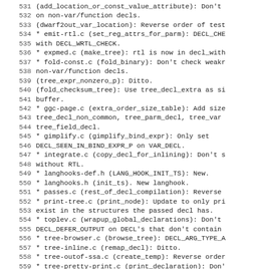531 (add_location_or_const_value_attribute): Don't
532 on non-var/function decls.
533 (dwarf2out_var_location): Reverse order of test
534 * emit-rtl.c (set_reg_attrs_for_parm): DECL_CHE
535 with DECL_WRTL_CHECK.
536 * expmed.c (make_tree): rtl is now in decl_with
537 * fold-const.c (fold_binary): Don't check weakr
538 non-var/function decls.
539 (tree_expr_nonzero_p): Ditto.
540 (fold_checksum_tree): Use tree_decl_extra as si
541 buffer.
542 * ggc-page.c (extra_order_size_table): Add size
543 tree_decl_non_common, tree_parm_decl, tree_var
544 tree_field_decl.
545 * gimplify.c (gimplify_bind_expr): Only set
546 DECL_SEEN_IN_BIND_EXPR_P on VAR_DECL.
547 * integrate.c (copy_decl_for_inlining): Don't s
548 without RTL.
549 * langhooks-def.h (LANG_HOOK_INIT_TS): New.
550 * langhooks.h (init_ts). New langhook.
551 * passes.c (rest_of_decl_compilation): Reverse
552 * print-tree.c (print_node): Update to only pri
553 exist in the structures the passed decl has.
554 * toplev.c (wrapup_global_declarations): Don't
555 DECL_DEFER_OUTPUT on DECL's that don't contain
556 * tree-browser.c (browse_tree): DECL_ARG_TYPE_A
557 * tree-inline.c (remap_decl): Ditto.
558 * tree-outof-ssa.c (create_temp): Reverse order
559 * tree-pretty-print.c (print_declaration): Don'
560 DECL_REGISTER on things that don't contain it.
561 * tree-vrp.c (expr_computes_nonzero): Don't che
562 non-var/function decls.